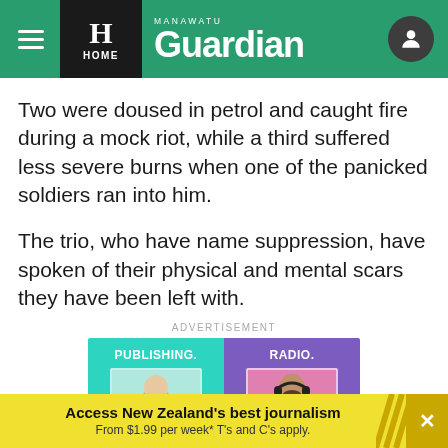Manawatu Guardian
Two were doused in petrol and caught fire during a mock riot, while a third suffered less severe burns when one of the panicked soldiers ran into him.
The trio, who have name suppression, have spoken of their physical and mental scars they have been left with.
ADVERTISEMENT
[Figure (photo): Advertisement banner showing two panels: left panel in teal with text 'PUBLISHING.' and a man holding a coffee cup and tablet, right panel in purple with text 'RADIO.' and a man with headphones.]
Access New Zealand's best journalism From $1.99 per week* T's and C's apply.